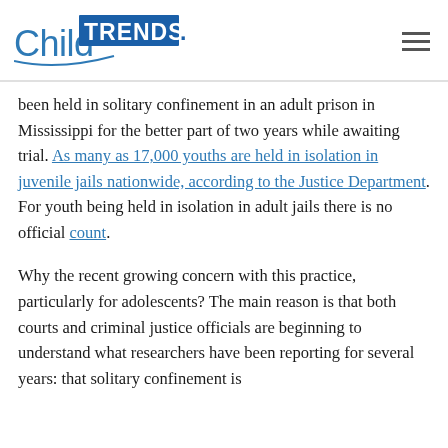Child Trends logo and navigation
been held in solitary confinement in an adult prison in Mississippi for the better part of two years while awaiting trial. As many as 17,000 youths are held in isolation in juvenile jails nationwide, according to the Justice Department. For youth being held in isolation in adult jails there is no official count.
Why the recent growing concern with this practice, particularly for adolescents? The main reason is that both courts and criminal justice officials are beginning to understand what researchers have been reporting for several years: that solitary confinement is